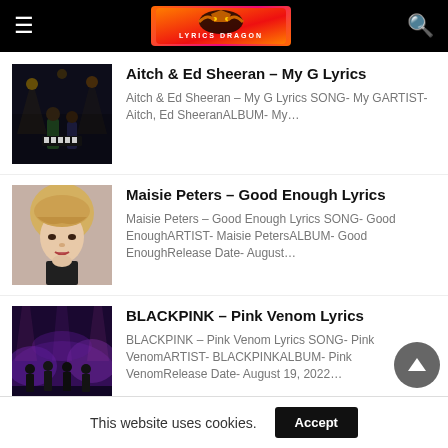Lyrics Dragon – header with hamburger menu, logo, and search icon
[Figure (photo): Thumbnail image of Aitch & Ed Sheeran – dark stage setting with performers]
Aitch & Ed Sheeran – My G Lyrics
Aitch & Ed Sheeran – My G Lyrics SONG- My GARTIST- Aitch, Ed SheeranALBUM- My…
[Figure (photo): Thumbnail image of Maisie Peters – blonde woman with bangs close up portrait]
Maisie Peters – Good Enough Lyrics
Maisie Peters – Good Enough Lyrics SONG- Good EnoughARTIST- Maisie PetersALBUM- Good EnoughRelease Date- August…
[Figure (photo): Thumbnail image of BLACKPINK – group performers on stage with purple smoke]
BLACKPINK – Pink Venom Lyrics
BLACKPINK – Pink Venom Lyrics SONG- Pink VenomARTIST- BLACKPINKALBUM- Pink VenomRelease Date- August 19, 2022…
This website uses cookies.
Accept